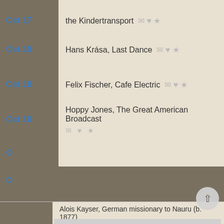Oct 17 — the Kindertransport
Oct 18 — Hans Krása, Last Dance
Oct 18 — Felix Fischer, Cafe Electric
Oct 18 — Hoppy Jones, The Great American Broadcast
We use cookies to understand how you use our site and to improve your experience. This includes personalizing content for you and for the display and tracking of advertising. By continuing to use our site, you accept and agree to our use of cookies. Privacy Policy
Got it!
Alois Kayser, German missionary to Nauru (b. 1877)